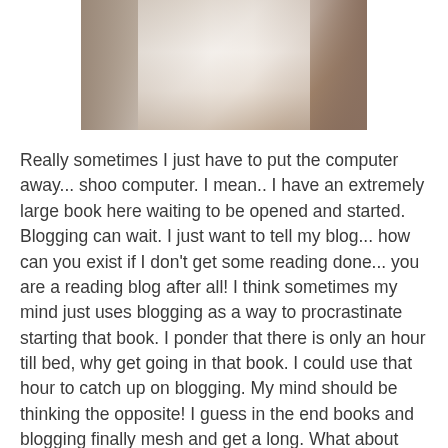[Figure (photo): A person in a white garment, partially visible photo cropped at top, appears to be in a room with bookshelves]
Really sometimes I just have to put the computer away... shoo computer.  I mean.. I have an extremely large book here waiting to be opened and started.  Blogging can wait.  I just want to tell my blog... how can you exist if I don't get some reading done... you are a reading blog after all!   I think sometimes my mind just uses blogging as a way to procrastinate starting that book.  I ponder that there is only an hour till bed, why get going in that book.  I could use that hour to catch up on blogging.  My mind should be thinking the opposite! I guess in the end books and blogging finally mesh and get a long.  What about you, ever procrastinate reading by blogging??